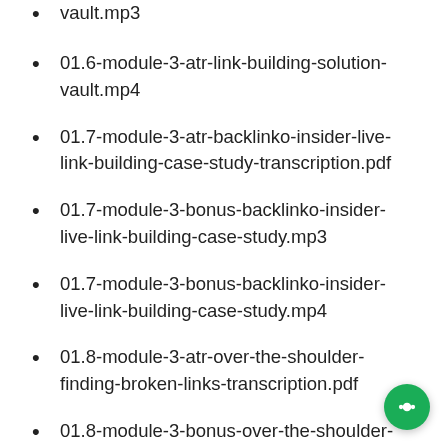vault.mp3
01.6-module-3-atr-link-building-solution-vault.mp4
01.7-module-3-atr-backlinko-insider-live-link-building-case-study-transcription.pdf
01.7-module-3-bonus-backlinko-insider-live-link-building-case-study.mp3
01.7-module-3-bonus-backlinko-insider-live-link-building-case-study.mp4
01.8-module-3-atr-over-the-shoulder-finding-broken-links-transcription.pdf
01.8-module-3-bonus-over-the-shoulder-finding-broken-links.mp3
01.8-module-3-bonus-over-the-shoulder-